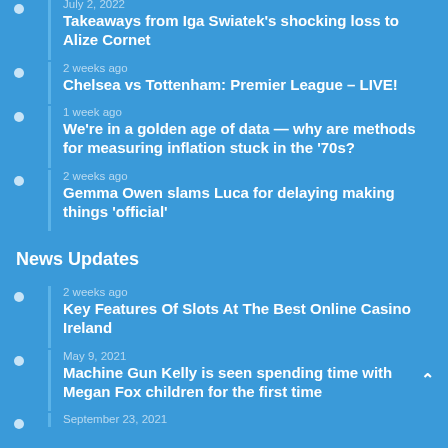July 2, 2022
Takeaways from Iga Swiatek's shocking loss to Alize Cornet
2 weeks ago
Chelsea vs Tottenham: Premier League – LIVE!
1 week ago
We're in a golden age of data — why are methods for measuring inflation stuck in the '70s?
2 weeks ago
Gemma Owen slams Luca for delaying making things 'official'
News Updates
2 weeks ago
Key Features Of Slots At The Best Online Casino Ireland
May 9, 2021
Machine Gun Kelly is seen spending time with Megan Fox children for the first time
September 23, 2021